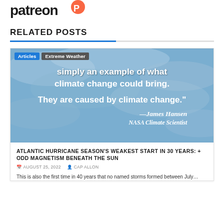[Figure (logo): Patreon logo in dark text with orange flame icon]
RELATED POSTS
[Figure (photo): Blue sky/satellite weather image overlay with white bold text quote: 'simply an example of what climate change could bring. They are caused by climate change.' — James Hansen, NASA Climate Scientist. Tags: Articles, Extreme Weather.]
ATLANTIC HURRICANE SEASON'S WEAKEST START IN 30 YEARS: + ODD MAGNETISM BENEATH THE SUN
AUGUST 25, 2022   CAP ALLON
This is also the first time in 40 years that no named storms formed between July…